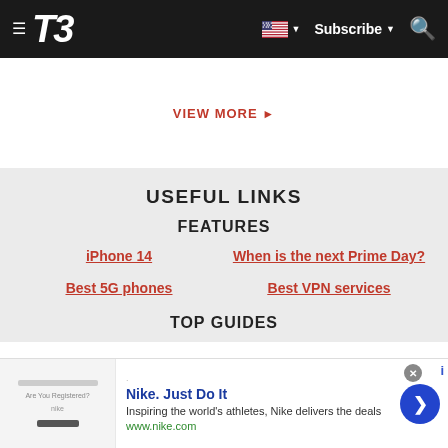T3 — navigation bar with hamburger menu, T3 logo, US flag, Subscribe, and search icon
VIEW MORE ▶
USEFUL LINKS
FEATURES
iPhone 14
When is the next Prime Day?
Best 5G phones
Best VPN services
TOP GUIDES
[Figure (screenshot): Nike advertisement banner: Nike. Just Do It — Inspiring the world's athletes, Nike delivers the deals — www.nike.com]